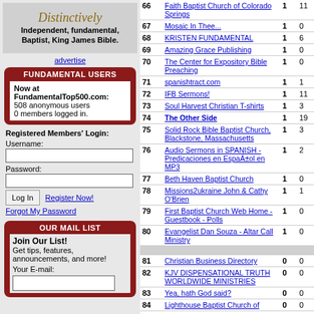[Figure (illustration): Ad box with 'Distinctively' in italic gold text and tagline 'Independent, fundamental, Baptist, King James Bible.']
advertise
FUNDAMENTAL USERS
Now at FundamentalTop500.com: 508 anonymous users 0 members logged in.
Registered Members' Login: Username: Password:
OUR MAIL LIST
Join Our List! Get tips, features, announcements, and more! Your E-mail:
| # | Name | In | Out |
| --- | --- | --- | --- |
| 66 | Faith Baptist Church of Colorado Springs | 1 | 11 |
| 67 | Mosaic In Thee... | 1 | 0 |
| 68 | KRISTEN FUNDAMENTAL | 1 | 6 |
| 69 | Amazing Grace Publishing | 1 | 0 |
| 70 | The Center for Expository Bible Preaching | 1 | 0 |
| 71 | spanishtract.com | 1 | 1 |
| 72 | IFB Sermons! | 1 | 11 |
| 73 | Soul Harvest Christian T-shirts | 1 | 3 |
| 74 | The Other Side | 1 | 19 |
| 75 | Solid Rock Bible Baptist Church, Blackstone, Massachusetts | 1 | 3 |
| 76 | Audio Sermons in SPANISH - Predicaciones en Español en MP3 | 1 | 2 |
| 77 | Beth Haven Baptist Church | 1 | 0 |
| 78 | Missions2ukraine John & Cathy O'Brien | 1 | 1 |
| 79 | First Baptist Church Web Home - Guestbook - Polls | 1 | 0 |
| 80 | Evangelist Dan Souza - Altar Call Ministry | 1 | 0 |
| 81 | Christian Business Directory | 0 | 0 |
| 82 | KJV DISPENSATIONAL TRUTH WORLDWIDE MINISTRIES | 0 | 0 |
| 83 | Yea, hath God said? | 0 | 0 |
| 84 | Lighthouse Baptist Church of | 0 | 0 |